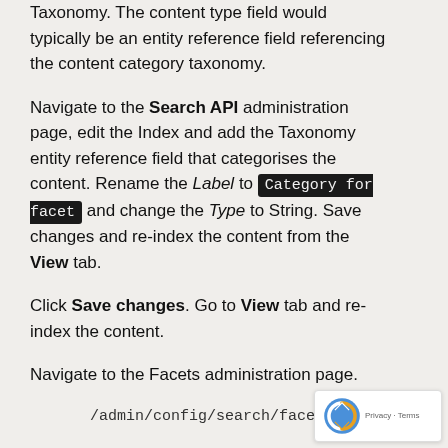Taxonomy. The content type field would typically be an entity reference field referencing the content category taxonomy.
Navigate to the Search API administration page, edit the Index and add the Taxonomy entity reference field that categorises the content. Rename the Label to Category for facet and change the Type to String. Save changes and re-index the content from the View tab.
Click Save changes. Go to View tab and re-index the content.
Navigate to the Facets administration page.
/admin/config/search/facets
You will see the facet source which is basically the search view.